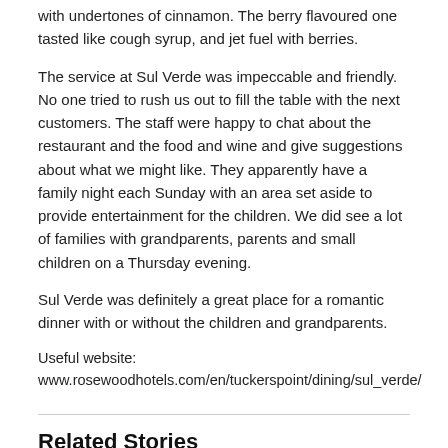with undertones of cinnamon. The berry flavoured one tasted like cough syrup, and jet fuel with berries.
The service at Sul Verde was impeccable and friendly. No one tried to rush us out to fill the table with the next customers. The staff were happy to chat about the restaurant and the food and wine and give suggestions about what we might like. They apparently have a family night each Sunday with an area set aside to provide entertainment for the children. We did see a lot of families with grandparents, parents and small children on a Thursday evening.
Sul Verde was definitely a great place for a romantic dinner with or without the children and grandparents.
Useful website:
www.rosewoodhotels.com/en/tuckerspoint/dining/sul_verde/
Related Stories
Be your own pet insurance